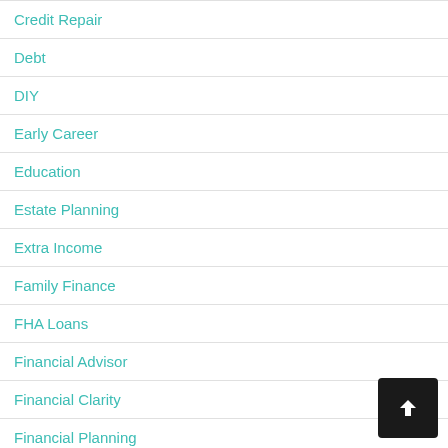Credit Repair
Debt
DIY
Early Career
Education
Estate Planning
Extra Income
Family Finance
FHA Loans
Financial Advisor
Financial Clarity
Financial Planning
First Time Home Buyers
Flood...